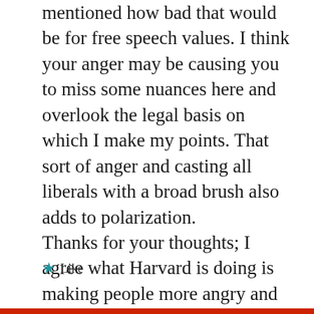mentioned how bad that would be for free speech values. I think your anger may be causing you to miss some nuances here and overlook the legal basis on which I make my points. That sort of anger and casting all liberals with a broad brush also adds to polarization.
Thanks for your thoughts; I agree what Harvard is doing is making people more angry and resentful, perhaps rightfully so.
★ Like